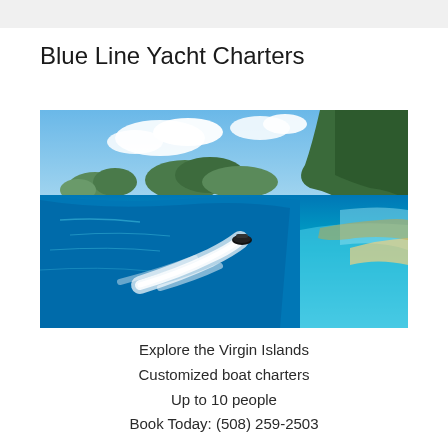Blue Line Yacht Charters
[Figure (photo): Aerial view of a speedboat cutting through vivid turquoise blue water in the Virgin Islands, leaving a white wake trail, with green mountainous islands visible in the background under a partly cloudy sky.]
Explore the Virgin Islands
Customized boat charters
Up to 10 people
Book Today: (508) 259-2503